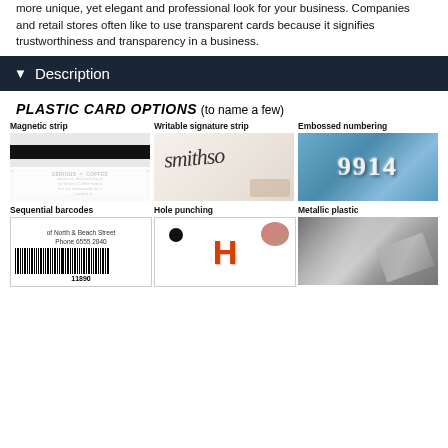more unique, yet elegant and professional look for your business. Companies and retail stores often like to use transparent cards because it signifies trustworthiness and transparency in a business.
▾ Description
PLASTIC CARD OPTIONS (to name a few)
[Figure (photo): Magnetic strip plastic card showing a Serious Coffee loyalty card with black magnetic strip]
[Figure (photo): Writable signature strip card showing cursive smithso signature]
[Figure (photo): Embossed numbering on a blue credit card showing 9914]
[Figure (photo): Sequential barcodes card showing barcode number 11890 and address of North & Beach Street]
[Figure (photo): Hole punching card with orange H logo and football graphic]
[Figure (photo): Metallic plastic card surface with silver metallic texture]